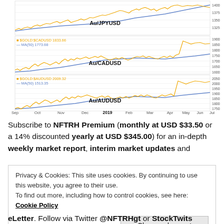[Figure (continuous-plot): Three stacked line/candlestick charts showing gold priced in different currencies from Sep 2018 to Jul 2019. Top: Au/JPYUSD (range ~1300-1400). Middle: Au/CADUSD with $GOLD:$CADUSD 1833.66 and MA(50) 1773.68 labels (range ~1550-1900). Bottom: Au/AUDUSD with $GOLD:$AUDUSD 2009.32 and MA(50) 1513.35 labels (range ~1650-2050). X-axis labels: Sep, Oct, Nov, Dec, 2019, Feb, Mar, Apr, May, Jun, Jul. Blue MA lines and gold/yellow price lines shown.]
Subscribe to NFTRH Premium (monthly at USD $33.50 or a 14% discounted yearly at USD $345.00) for an in-depth weekly market report, interim market updates and
Privacy & Cookies: This site uses cookies. By continuing to use this website, you agree to their use. To find out more, including how to control cookies, see here: Cookie Policy
Close and accept
eLetter. Follow via Twitter @NFTRHgt or StockTwits